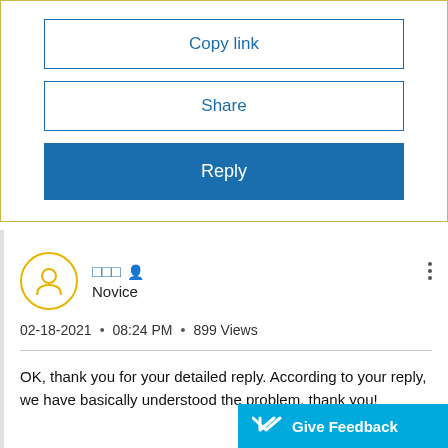[Figure (screenshot): Copy link button (outlined blue border, blue text)]
[Figure (screenshot): Share button (outlined blue border, blue text)]
[Figure (screenshot): Reply button (solid blue background, white text)]
[Figure (screenshot): User avatar circle with person icon in yellow border]
□□□ 🔒
Novice
02-18-2021 • 08:24 PM • 899 Views
OK, thank you for your detailed reply. According to your reply, we have basically understood the problem. thank you!
Give Feedback